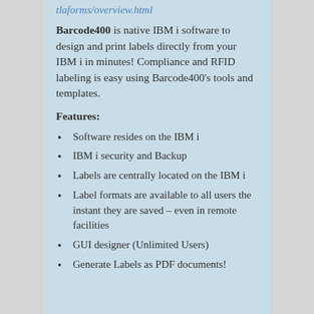tlaforms/overview.html
Barcode400 is native IBM i software to design and print labels directly from your IBM i in minutes! Compliance and RFID labeling is easy using Barcode400's tools and templates.
Features:
Software resides on the IBM i
IBM i security and Backup
Labels are centrally located on the IBM i
Label formats are available to all users the instant they are saved – even in remote facilities
GUI designer (Unlimited Users)
Generate Labels as PDF documents!